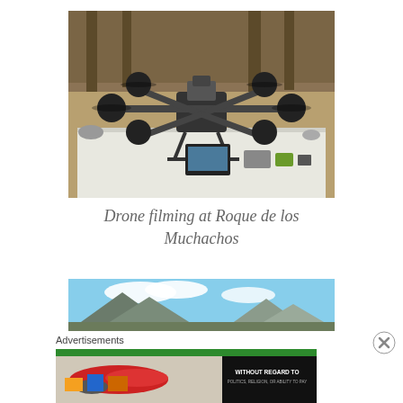[Figure (photo): A large multi-rotor drone (hexacopter or octocopter) with camera equipment mounted on a white surface outdoors, with trees and dry terrain in the background. Roque de los Muchachos location.]
Drone filming at Roque de los Muchachos
[Figure (photo): Aerial or landscape photograph showing mountains with blue sky and clouds, partially visible.]
Advertisements
[Figure (photo): Advertisement banner showing an airplane being loaded with cargo, with text overlay reading WITHOUT REGARD TO POLITICS, RELIGION, OR ABILITY TO PAY]